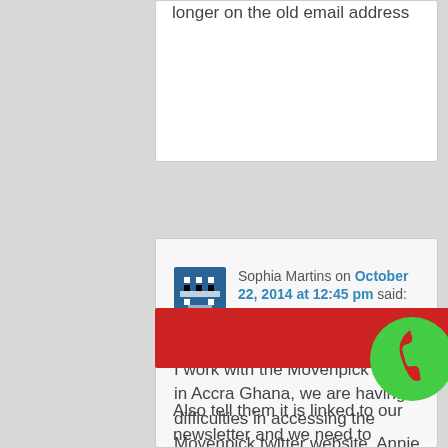longer on the old email address
Sophia Martins on October 22, 2014 at 12:45 pm said:
HI
I work with the Movenpick Hotel in Accra Ghana, we are having difficulties in accessing the Movenpick twitter website, Annie Terminet who was the administrator had the twitter password and login but has left the company, please how Can
[Figure (other): Red CTA button reading 'Click to call ASOS' with a green circle phone icon to the right]
Also tell them it is linked to our newsletter and we need to